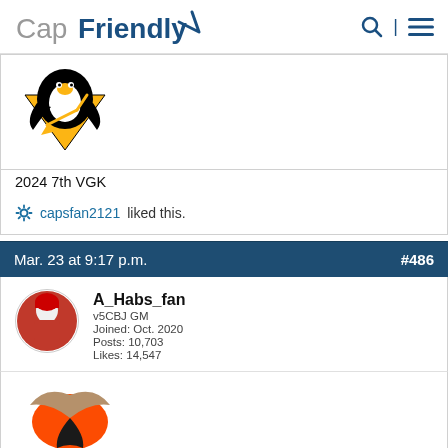CapFriendly
[Figure (logo): Pittsburgh Penguins NHL team logo - black and gold penguin]
2024 7th VGK
capsfan2121 liked this.
Mar. 23 at 9:17 p.m.  #486
[Figure (photo): A_Habs_fan user avatar - hockey player photo in red jersey]
A_Habs_fan
v5CBJ GM
Joined: Oct. 2020
Posts: 10,703
Likes: 14,547
[Figure (logo): Anaheim Ducks NHL team logo - orange and gold duck foot/webbed wings]
Jack Roslovic
[Figure (logo): Partial view of another NHL team logo at bottom]